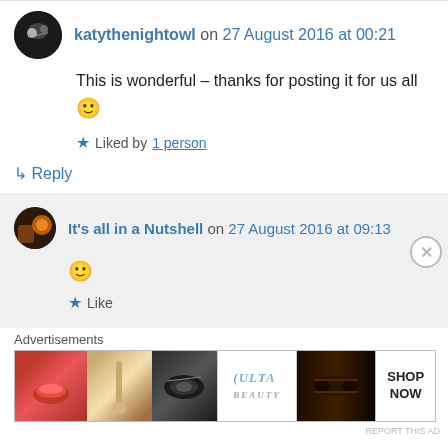katythenightowl on 27 August 2016 at 00:21
This is wonderful – thanks for posting it for us all 🙂
★ Liked by 1 person
↳ Reply
It's all in a Nutshell on 27 August 2016 at 09:13
🙂
★ Like
Advertisements